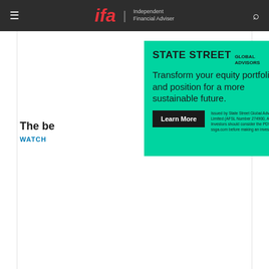ifa | Independent Financial Adviser
[Figure (screenshot): State Street Global Advisors advertisement on green background. Headline: 'STATE STREET GLOBAL ADVISORS'. Tagline: 'Transform your equity portfolio and position for a more sustainable future.' with a Learn More button and disclaimer text about AFSL Number 274900, ABN 16 108 671 441.]
The be
WATCH
[Figure (screenshot): IFA video thumbnail showing 'WHY MANAGED PORTFOLIOS ARE KEY TO A STRONG ADVISER-CLIENT RELATIONSHIP' in a red banner over IFA branded background, with a Pendal advertisement at the bottom reading 'Rob Baker. Financial Adviser. Invested in making our world a better place.' with Learn More button.]